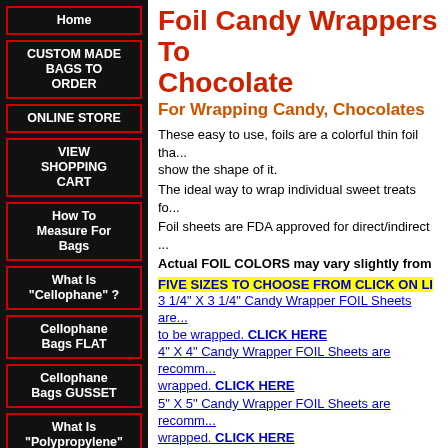Home
CUSTOM MADE BAGS TO ORDER
ONLINE STORE
VIEW SHOPPING CART
How To Measure For Bags
What Is "Cellophane" ?
Cellophane Bags FLAT
Cellophane Bags GUSSET
What Is "Polypropylene" ?
Foil Candy Wrappers To Wrap Chocolate
For Wrapping Candy, Chocolates
These easy to use, foils are a colorful thin foil that show the shape of it.
The ideal way to wrap individual sweet treats for
Foil sheets are FDA approved for direct/indirect
Actual FOIL COLORS may vary slightly from
FIVE SIZES TO CHOOSE FROM CLICK ON LI
3 1/4" X 3 1/4" Candy Wrapper FOIL Sheets are ... to be wrapped. CLICK HERE
4" X 4" Candy Wrapper FOIL Sheets are recomm... wrapped. CLICK HERE
5" X 5" Candy Wrapper FOIL Sheets are recomm... wrapped. CLICK HERE
6" X 6" Candy Wrapper FOIL Sheets are recomm... wrapped. CLICK HERE
8" X 8" Candy Wrapper FOIL Sheets HEAVY DU
9" X 9" 10" X 10" 12" X 12" GOLD FOIL Sheets
NOTE: Foil Sheets are NOT recommended fo... Please see Clear Cellophane Candy Wrappers f